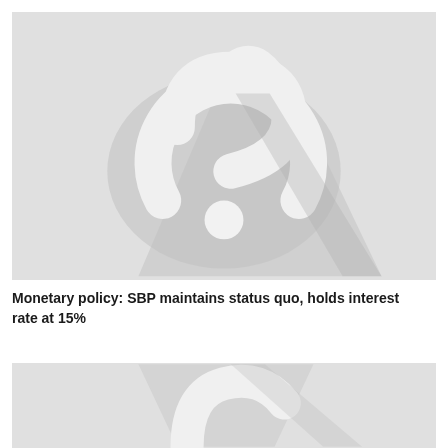[Figure (illustration): Placeholder image with a stylized question mark or figure icon in grey tones with shadow effect on a light grey background]
Monetary policy: SBP maintains status quo, holds interest rate at 15%
[Figure (illustration): Partial placeholder image, same style as above, cropped at the bottom of the page]